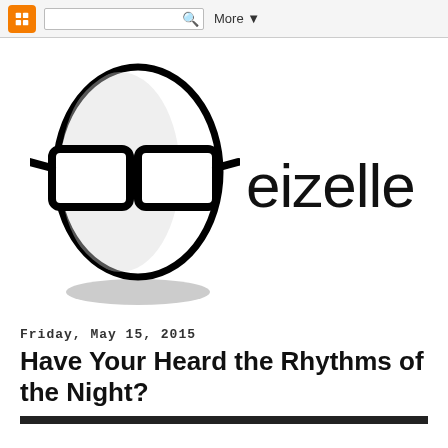Blogger navigation bar with search and More button
[Figure (logo): Eizelle blog logo: cartoon egg character wearing thick black glasses, with shadow underneath, next to the text 'eizelle' in thin sans-serif font]
Friday, May 15, 2015
Have Your Heard the Rhythms of the Night?